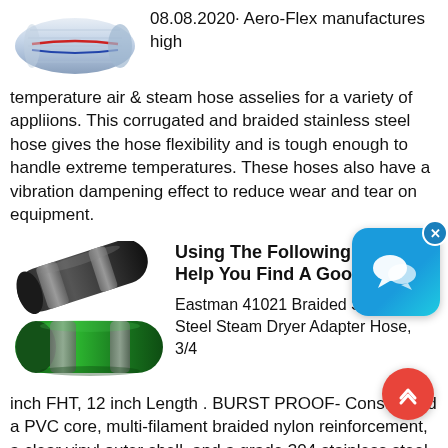[Figure (photo): A braided flexible hose with red and blue stripes, shown coiled, viewed from the side.]
08.08.2020· Aero-Flex manufactures high temperature air & steam hose asselies for a variety of appliions. This corrugated and braided stainless steel hose gives the hose flexibility and is tough enough to handle extreme temperatures. These hoses also have a vibration dampening effect to reduce wear and tear on equipment.
[Figure (photo): Two large black and green braided hoses shown at an angle, with grey bands.]
Using The Following Tips Will Help You Find A Good Quality
Eastman 41021 Braided Stainless Steel Steam Dryer Adapter Hose, 3/4 inch FHT, 12 inch Length . BURST PROOF- Constructed a PVC core, multi-filament braided nylon reinforcement, a clear vinyl outer shell, and a grade 304 stainless steel braided exterior that is designed to prevent kinking and crimping. Includes nickel-plated